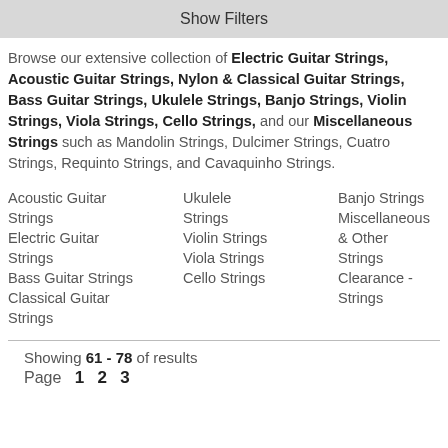Show Filters
Browse our extensive collection of Electric Guitar Strings, Acoustic Guitar Strings, Nylon & Classical Guitar Strings, Bass Guitar Strings, Ukulele Strings, Banjo Strings, Violin Strings, Viola Strings, Cello Strings, and our Miscellaneous Strings such as Mandolin Strings, Dulcimer Strings, Cuatro Strings, Requinto Strings, and Cavaquinho Strings.
Acoustic Guitar Strings
Electric Guitar Strings
Bass Guitar Strings
Classical Guitar Strings
Ukulele Strings
Violin Strings
Viola Strings
Cello Strings
Banjo Strings
Miscellaneous & Other Strings
Clearance - Strings
Showing 61 - 78 of results
Page  1  2  3